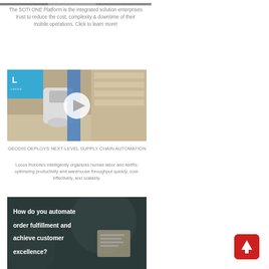[Figure (photo): Partial top strip of a photo, cropped]
The SOTI ONE Platform is the integrated solution enterprises trust to reduce the cost, complexity & downtime of their mobile operations. Click to learn more!
[Figure (photo): Warehouse scene with Locus Robotics AMR robot and a play button overlay; Locus logo in top left corner]
GEODIS DEPLOYS NEXT-LEVEL SUPPLY CHAIN AUTOMATION
Locus Robotics intelligently organizes human labor and AMRs; optimizing productivity and warehouse throughput quickly, cost-effectively, and scalably.
[Figure (photo): Dark background image with white bold text: How do you automate order fulfillment and achieve customer excellence?]
[Figure (other): Red square button with a white upward arrow icon]